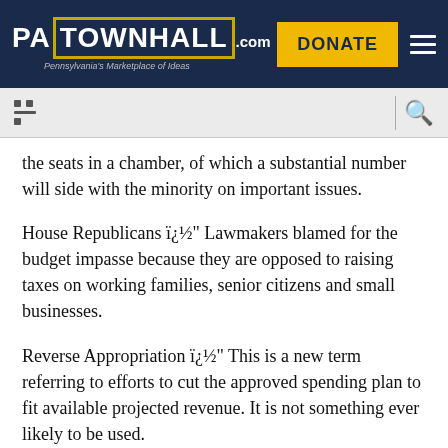PA TOWNHALL.COM — Pennsylvania's Marketplace of Ideas | DONATE
the seats in a chamber, of which a substantial number will side with the minority on important issues.
House Republicans ï¿½" Lawmakers blamed for the budget impasse because they are opposed to raising taxes on working families, senior citizens and small businesses.
Reverse Appropriation ï¿½" This is a new term referring to efforts to cut the approved spending plan to fit available projected revenue. It is not something ever likely to be used.